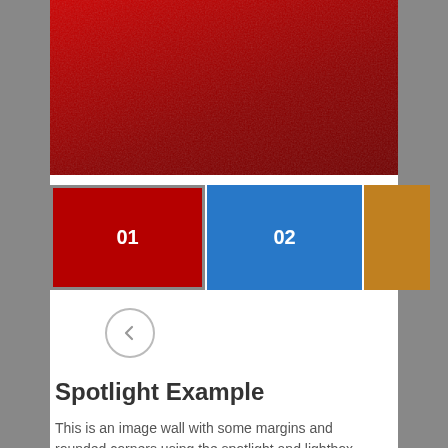[Figure (screenshot): Top red banner image with dark red textured background]
[Figure (screenshot): Row of four colored thumbnail panels labeled 01 (red, selected with gray border), 02 (blue), 03 (golden-brown), and a partially visible green panel. A left-arrow circle button appears below.]
Spotlight Example
This is an image wall with some margins and rounded corners using the spotlight and lightbox.
[Figure (screenshot): Red rounded rectangle card with white bold label '01' at bottom center]